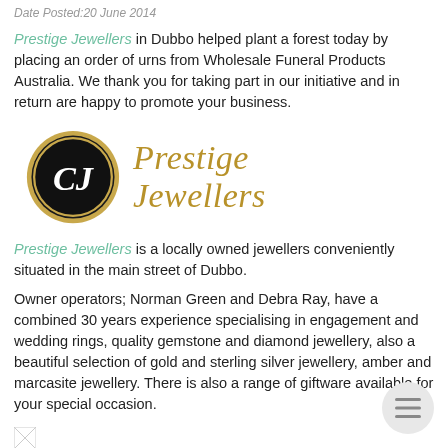Date Posted:20 June 2014
Prestige Jewellers in Dubbo helped plant a forest today by placing an order of urns from Wholesale Funeral Products Australia. We thank you for taking part in our initiative and in return are happy to promote your business.
[Figure (logo): Prestige Jewellers logo: black circular emblem with stylized CJ monogram on the left, and 'Prestige Jewellers' in gold italic serif font on the right.]
Prestige Jewellers is a locally owned jewellers conveniently situated in the main street of Dubbo.
Owner operators; Norman Green and Debra Ray, have a combined 30 years experience specialising in engagement and wedding rings, quality gemstone and diamond jewellery, also a beautiful selection of gold and sterling silver jewellery, amber and marcasite jewellery. There is also a range of giftware available for your special occasion.
[Figure (illustration): Small broken/placeholder image icon.]
About the Trees for life Program